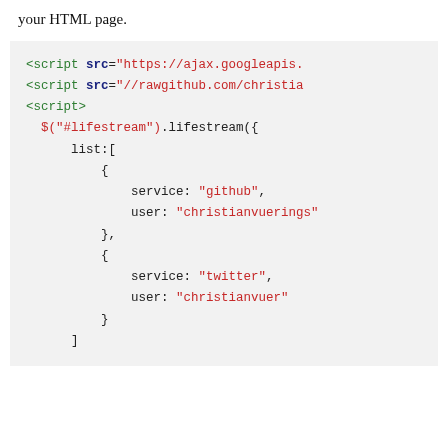your HTML page.
[Figure (screenshot): Code block showing HTML script tags and JavaScript lifestream plugin initialization with github and twitter service entries.]